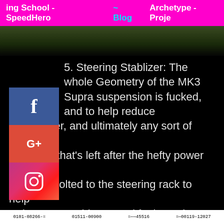ing School - SpeedHero   ~ Blog   Archetype - Proj…
[Figure (photo): Partial photo of a car/road scene, dark green and black tones, visible at the top of the page below the navigation bar]
5. Steering Stablizer:  The whole Geometry of the MK3 Supra suspension is fucked, and to help reduce bump steer, and ultimately any sort of driver feedback that's left after the hefty power steering, a shock, bolted to the steering rack to help reduce...something. Road feel mostly, or resist the terrible bumper steer associated with #4. This stabilizer, much like the Cressidas (Although they had different front suspensions and shared the rear) resists and sometimes completely removes the affects of caster during cornering. It reduces the speed of turn by adding a dramatic amount of resistance.
[Figure (illustration): Bottom strip showing partial technical drawings/illustrations, white on black, with numbers like 0101-08266, 01511-00900, 45516, 00119-12027]